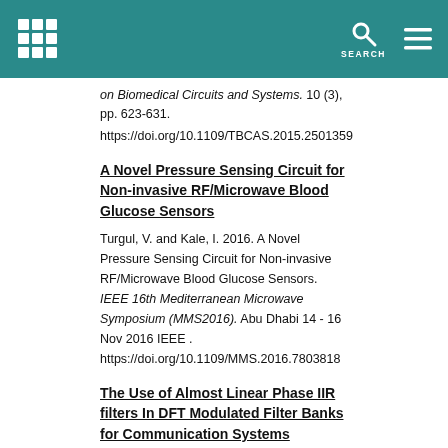on Biomedical Circuits and Systems. 10 (3), pp. 623-631. https://doi.org/10.1109/TBCAS.2015.2501359
A Novel Pressure Sensing Circuit for Non-invasive RF/Microwave Blood Glucose Sensors
Turgul, V. and Kale, I. 2016. A Novel Pressure Sensing Circuit for Non-invasive RF/Microwave Blood Glucose Sensors. IEEE 16th Mediterranean Microwave Symposium (MMS2016). Abu Dhabi 14 - 16 Nov 2016 IEEE . https://doi.org/10.1109/MMS.2016.7803818
The Use of Almost Linear Phase IIR filters In DFT Modulated Filter Banks for Communication Systems
de Cacqueray-Valmenier, M., Coskun, A. and Kale, I. 2016. The Use of Almost Linear Phase IIR filters In DFT Modulated Filter Banks for Communication Systems . 2016 IEEE 17th International Workshop on Signal Processing Advances in Wireless Communications (SPAWC). Edinburgh 03 - 06 Jul 2016 IEEE .